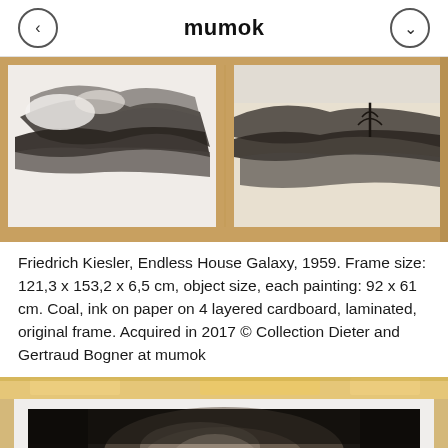mumok
[Figure (photo): Friedrich Kiesler, Endless House Galaxy, 1959 — framed artwork showing two black-and-white charcoal/ink drawings in a wooden frame with warm tan/oak finish. Upper portion of the artwork is visible.]
Friedrich Kiesler, Endless House Galaxy, 1959. Frame size: 121,3 x 153,2 x 6,5 cm, object size, each painting: 92 x 61 cm. Coal, ink on paper on 4 layered cardboard, laminated, original frame. Acquired in 2017 © Collection Dieter and Gertraud Bogner at mumok
[Figure (photo): Second artwork — vintage photograph or print showing an architectural model or structure with a dark tonal background, mounted on aged cardboard with tape residue at top. Lower portion visible.]